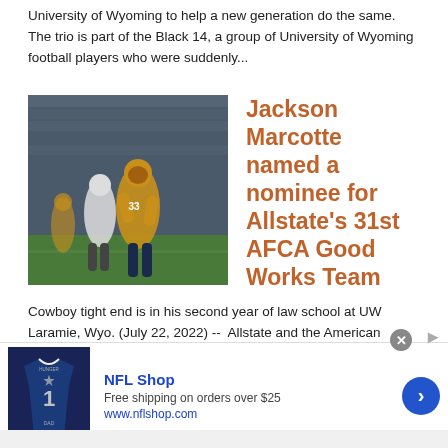University of Wyoming to help a new generation do the same. The trio is part of the Black 14, a group of University of Wyoming football players who were suddenly...
[Figure (photo): Football player in gold and brown uniform running on field with other players, stadium seating visible in background]
Jackson Marcotte named a nominee for Allstate's 31st AFCA Good Works Team
Cowboy tight end is in his second year of law school at UW  Laramie, Wyo. (July 22, 2022) --  Allstate and the American Football Coaches Association (AFCA) have announced the nominees for the 2022 Allstate AFCA Good Works Team®. The nominees include 114 student-athletes with exemplary community...
[Figure (screenshot): NFL Shop advertisement showing a Dallas Cowboys jersey, with text 'NFL Shop', 'Free shipping on orders over $25', 'www.nflshop.com', and a blue arrow button]